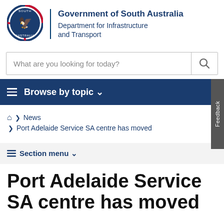[Figure (logo): South Australia Government circular logo with eagle emblem and red/blue ring]
Government of South Australia
Department for Infrastructure and Transport
[Figure (screenshot): Search bar with placeholder text 'What are you looking for today?' and magnifying glass icon button]
Browse by topic
Home > News
> Port Adelaide Service SA centre has moved
Section menu
Port Adelaide Service SA centre has moved